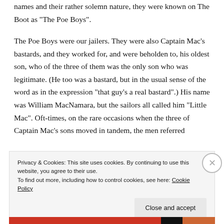names and their rather solemn nature, they were known on The Boot as “The Poe Boys”.
The Poe Boys were our jailers. They were also Captain Mac’s bastards, and they worked for, and were beholden to, his oldest son, who of the three of them was the only son who was legitimate. (He too was a bastard, but in the usual sense of the word as in the expression “that guy’s a real bastard”.) His name was William MacNamara, but the sailors all called him “Little Mac”. Oft-times, on the rare occasions when the three of Captain Mac’s sons moved in tandem, the men referred
Privacy & Cookies: This site uses cookies. By continuing to use this website, you agree to their use.
To find out more, including how to control cookies, see here: Cookie Policy
Close and accept